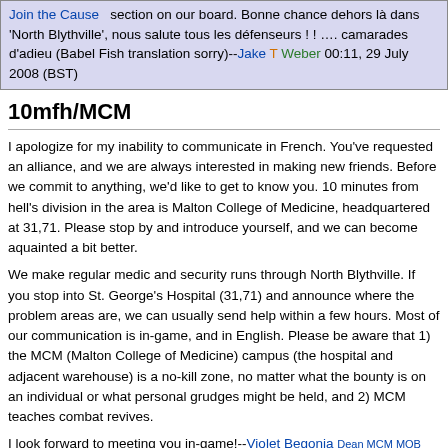Join the Cause section on our board. Bonne chance dehors là dans 'North Blythville', nous salute tous les défenseurs ! ! …. camarades d'adieu (Babel Fish translation sorry)--Jake T Weber 00:11, 29 July 2008 (BST)
10mfh/MCM
I apologize for my inability to communicate in French. You've requested an alliance, and we are always interested in making new friends. Before we commit to anything, we'd like to get to know you. 10 minutes from hell's division in the area is Malton College of Medicine, headquartered at 31,71. Please stop by and introduce yourself, and we can become aquainted a bit better.
We make regular medic and security runs through North Blythville. If you stop into St. George's Hospital (31,71) and announce where the problem areas are, we can usually send help within a few hours. Most of our communication is in-game, and in English. Please be aware that 1) the MCM (Malton College of Medicine) campus (the hospital and adjacent warehouse) is a no-kill zone, no matter what the bounty is on an individual or what personal grudges might be held, and 2) MCM teaches combat revives.
I look forward to meeting you in-game!--Violet Begonia Dean MCM MOB 04:05, 28 July 2008 (BST)
(copied from the MCM talk page so you'll get this ASAP)
Your English is fine! Far better than my French, which only consists of a few numbers and several food items. Come to Nicols Avenue (30,72) revive